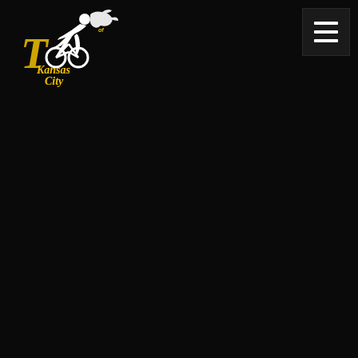[Figure (logo): Tour of Kansas City cycling event logo. Features a stylized cyclist silhouette in white with 'Tour of Kansas City' text in yellow/gold script font on a dark background.]
[Figure (other): Hamburger menu icon - three horizontal white lines stacked, on a dark gray square background, positioned in the top right corner of the page.]